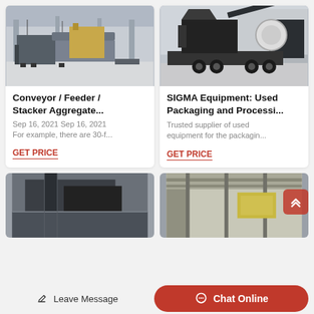[Figure (photo): Industrial conveyor/feeder/stacker aggregate machinery in a warehouse]
Conveyor / Feeder / Stacker Aggregate...
Sep 16, 2021 Sep 16, 2021
For example, there are 30-f...
GET PRICE
[Figure (photo): SIGMA mobile crushing/processing equipment on a truck trailer outside a warehouse]
SIGMA Equipment: Used Packaging and Processi...
Trusted supplier of used equipment for the packagin...
GET PRICE
[Figure (photo): Partial view of industrial black metal equipment component]
[Figure (photo): Partial view of industrial equipment in a building interior]
Leave Message
Chat Online